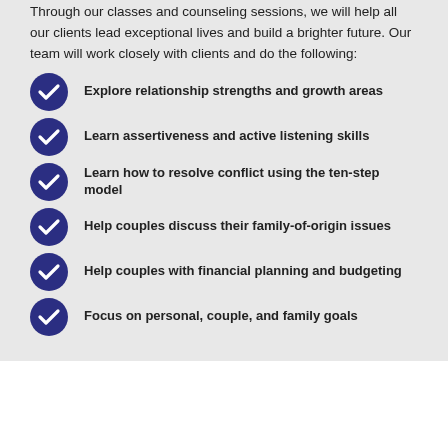Through our classes and counseling sessions, we will help all our clients lead exceptional lives and build a brighter future. Our team will work closely with clients and do the following:
Explore relationship strengths and growth areas
Learn assertiveness and active listening skills
Learn how to resolve conflict using the ten-step model
Help couples discuss their family-of-origin issues
Help couples with financial planning and budgeting
Focus on personal, couple, and family goals